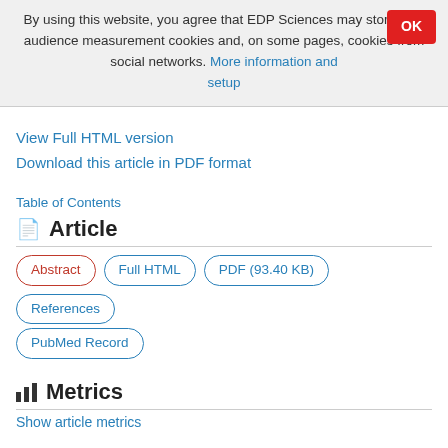By using this website, you agree that EDP Sciences may store web audience measurement cookies and, on some pages, cookies from social networks. More information and setup
View Full HTML version
Download this article in PDF format
Table of Contents
Article
Abstract | Full HTML | PDF (93.40 KB) | References | PubMed Record
Metrics
Show article metrics